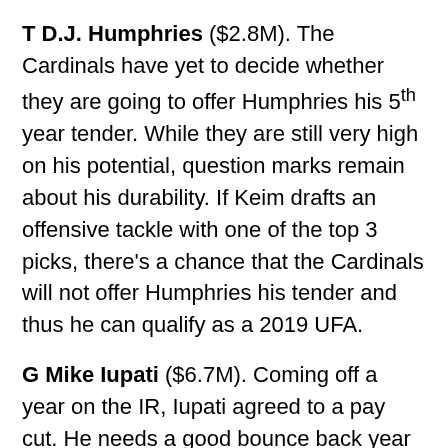T D.J. Humphries ($2.8M). The Cardinals have yet to decide whether they are going to offer Humphries his 5th year tender. While they are still very high on his potential, question marks remain about his durability. If Keim drafts an offensive tackle with one of the top 3 picks, there's a chance that the Cardinals will not offer Humphries his tender and thus he can qualify as a 2019 UFA.
G Mike Iupati ($6.7M). Coming off a year on the IR, Iupati agreed to a pay cut. He needs a good bounce back year to warrant the final year of his contract in 2019. If not, and the cardinals release him, he would count $1.7M in dead money on next year's cap.
WR J.J. Nelson ($2.0M). As with David Johnson, Nelson qualified for the proven performance escalator